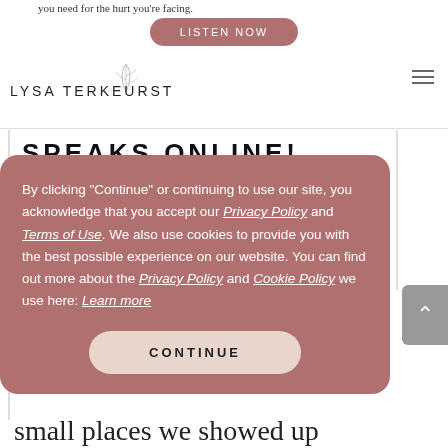you need for the hurt you're facing.
LISTEN NOW
[Figure (logo): Lysa TerKeurst logo with decorative leaf/branch illustration]
SPEAKS ONLINE!
By clicking "Continue" or continuing to use our site, you acknowledge that you accept our Privacy Policy and Terms of Use. We also use cookies to provide you with the best possible experience on our website. You can find out more about the Privacy Policy and Cookie Policy we use here: Learn more
CONTINUE
small places we showed up